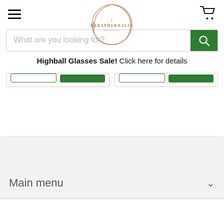Baraphernalia — navigation header with hamburger menu, logo, and cart icon
[Figure (logo): Baraphernalia circular logo with gold/brown ring and brand name text]
What are you looking for?
Highball Glasses Sale!  Click here for details
Main menu